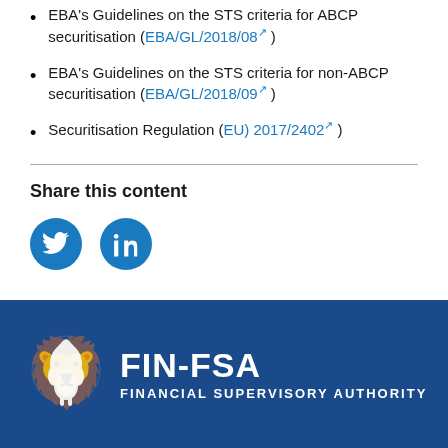EBA's Guidelines on the STS criteria for ABCP securitisation (EBA/GL/2018/08)
EBA's Guidelines on the STS criteria for non-ABCP securitisation (EBA/GL/2018/09)
Securitisation Regulation (EU) 2017/2402
Share this content
[Figure (logo): FIN-FSA Financial Supervisory Authority logo with lion emblem on dark blue background]